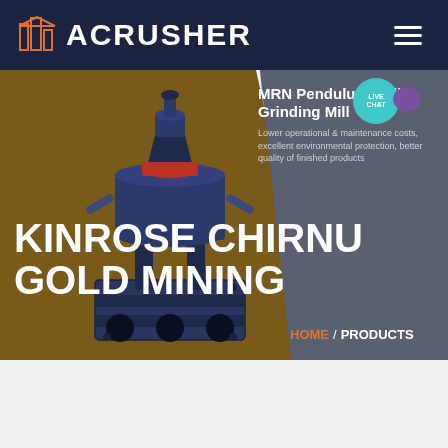ACRUSHER
KINROSE CHIRNU GOLD MINING
MRN Pendulum Roller Grinding Mill
Lower operational & maintenance costs, excellent environmental protection, better quality of finished products
[Figure (screenshot): Website screenshot of ACrusher mining equipment page showing a pendulum roller grinding mill machine on a brown-gold and gray hero background]
HOME / PRODUCTS